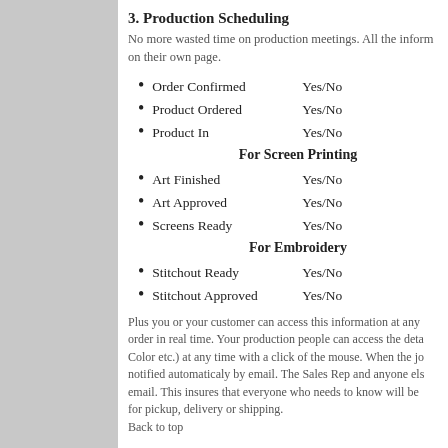3. Production Scheduling
No more wasted time on production meetings. All the inform on their own page.
Order Confirmed    Yes/No
Product Ordered    Yes/No
Product In    Yes/No
For Screen Printing
Art Finished    Yes/No
Art Approved    Yes/No
Screens Ready    Yes/No
For Embroidery
Stitchout Ready    Yes/No
Stitchout Approved Yes/No
Plus you or your customer can access this information at any order in real time. Your production people can access the deta Color etc.) at any time with a click of the mouse. When the jo notified automaticaly by email. The Sales Rep and anyone els email. This insures that everyone who needs to know will be for pickup, delivery or shipping.
Back to top